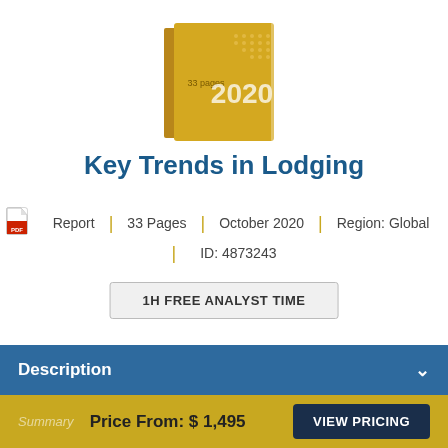[Figure (illustration): Golden/yellow book cover with '33 pages' text and '2020' displayed on the cover]
Key Trends in Lodging
Report | 33 Pages | October 2020 | Region: Global
ID: 4873243
1H FREE ANALYST TIME
Description
Summary Price From: $ 1,495  VIEW PRICING